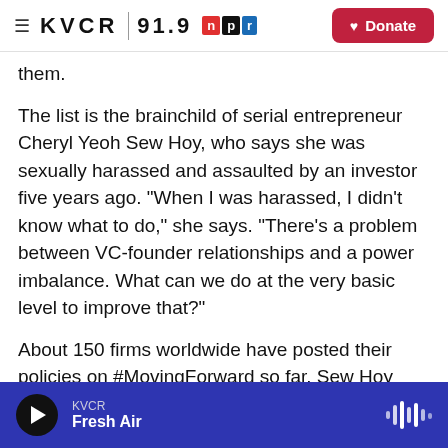≡ KVCR | 91.9 npr [logo] Donate
them.
The list is the brainchild of serial entrepreneur Cheryl Yeoh Sew Hoy, who says she was sexually harassed and assaulted by an investor five years ago. "When I was harassed, I didn't know what to do," she says. "There's a problem between VC-founder relationships and a power imbalance. What can we do at the very basic level to improve that?"
About 150 firms worldwide have posted their policies on #MovingForward so far. Sew Hoy calls it slow but meaningful progress.
KVCR Fresh Air [player bar]